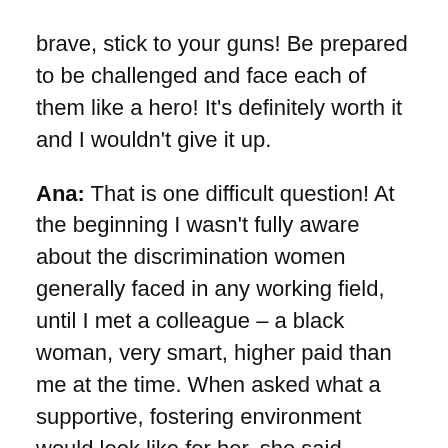brave, stick to your guns! Be prepared to be challenged and face each of them like a hero! It's definitely worth it and I wouldn't give it up.
Ana: That is one difficult question! At the beginning I wasn't fully aware about the discrimination women generally faced in any working field, until I met a colleague – a black woman, very smart, higher paid than me at the time. When asked what a supportive, fostering environment would look like for her, she said 'Seeing people like me promoted!'.
Now she obviously meant black women, at the same time I found it very striking because I always thought the best got to the top, but didn't pay that much attention to how many women were at the